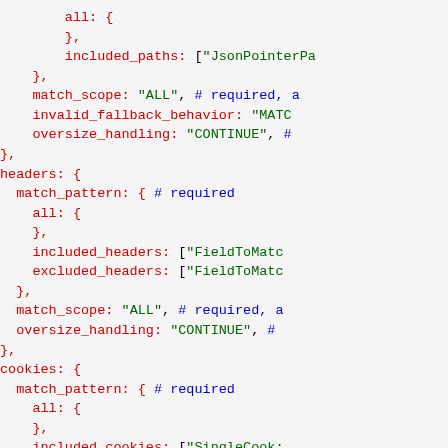Code snippet showing YAML/config structure with all, included_paths, match_scope, invalid_fallback_behavior, oversize_handling, headers, match_pattern, included_headers, excluded_headers, cookies, included_cookies, excluded_cookies fields